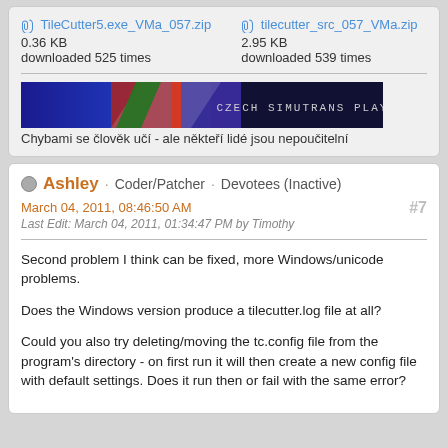TileCutter5.exe_VMa_057.zip  0.36 KB  downloaded 525 times
tilecutter_src_057_VMa.zip  2.95 KB  downloaded 539 times
[Figure (illustration): Banner image showing Czech Simutrans Player banner with red, blue and white design]
Chybami se člověk učí - ale někteří lidé jsou nepoučitelní
Ashley · Coder/Patcher · Devotees (Inactive)
March 04, 2011, 08:46:50 AM
Last Edit: March 04, 2011, 01:34:47 PM by Timothy
#7
Second problem I think can be fixed, more Windows/unicode problems.
Does the Windows version produce a tilecutter.log file at all?
Could you also try deleting/moving the tc.config file from the program's directory - on first run it will then create a new config file with default settings. Does it run then or fail with the same error?